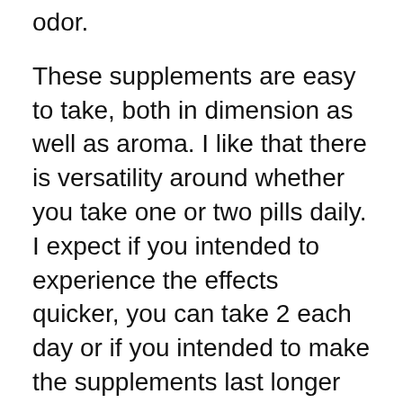odor.
These supplements are easy to take, both in dimension as well as aroma. I like that there is versatility around whether you take one or two pills daily. I expect if you intended to experience the effects quicker, you can take 2 each day or if you intended to make the supplements last longer just take one per day. I like the option!
Krill oil is most definitely worth considering for a daily well-rounded support supplement. Whether you are trying to find skin assistance, heart assistance, cognitive support, joint assistance or something else, VitaPost Krill Oil Plus has something for everybody.